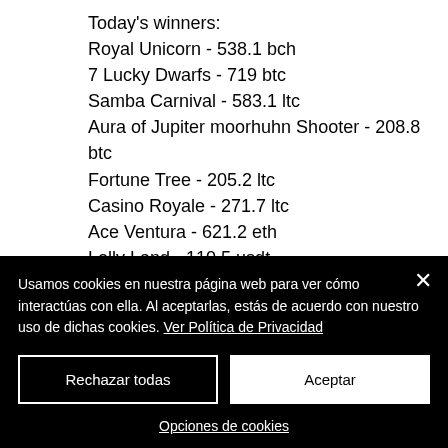Today's winners:
Royal Unicorn - 538.1 bch
7 Lucky Dwarfs - 719 btc
Samba Carnival - 583.1 ltc
Aura of Jupiter moorhuhn Shooter - 208.8 btc
Fortune Tree - 205.2 ltc
Casino Royale - 271.7 ltc
Ace Ventura - 621.2 eth
Lolly Land - 110.5 usdt
Illuminous - 8.3 eth
Mega Gems - 64.9 eth
Energy Fruits - 618 btc
Usamos cookies en nuestra página web para ver cómo interactúas con ella. Al aceptarlas, estás de acuerdo con nuestro uso de dichas cookies. Ver Política de Privacidad
Rechazar todas
Aceptar
Opciones de cookies